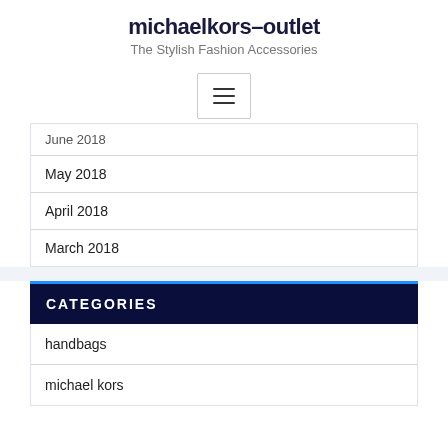michaelkors-outlet
The Stylish Fashion Accessories
[Figure (other): Hamburger menu button icon with three horizontal lines]
June 2018
May 2018
April 2018
March 2018
CATEGORIES
handbags
michael kors